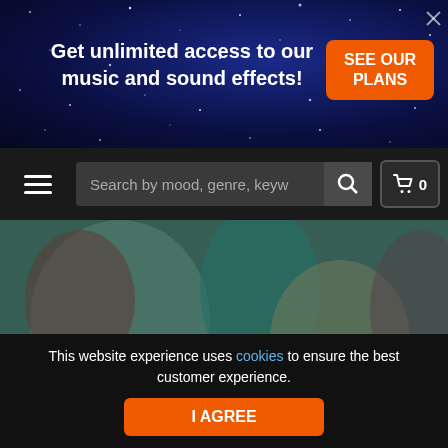Get unlimited access to our music and sound effects!
[Figure (screenshot): Orange button with text SEE OUR PLANS on dark blue starry night background]
[Figure (screenshot): Navigation bar with hamburger menu, search box reading 'Search by mood, genre, keyw', search icon, and shopping cart icon with 0 items]
[Figure (photo): Blurred image of people, possibly at a medical or care setting, with teal/muted color overlay]
This website experience uses cookies to ensure the best customer experience.
I AGREE